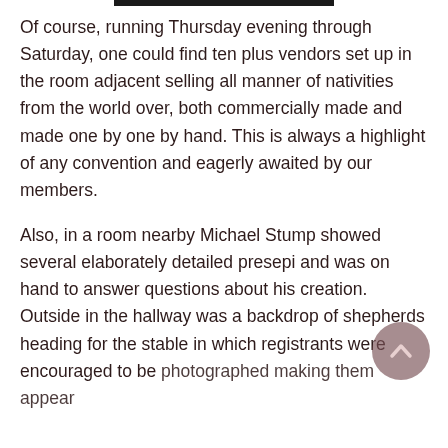Of course, running Thursday evening through Saturday, one could find ten plus vendors set up in the room adjacent selling all manner of nativities from the world over, both commercially made and made one by one by hand. This is always a highlight of any convention and eagerly awaited by our members.
Also, in a room nearby Michael Stump showed several elaborately detailed presepi and was on hand to answer questions about his creation. Outside in the hallway was a backdrop of shepherds heading for the stable in which registrants were encouraged to be photographed making them appear…